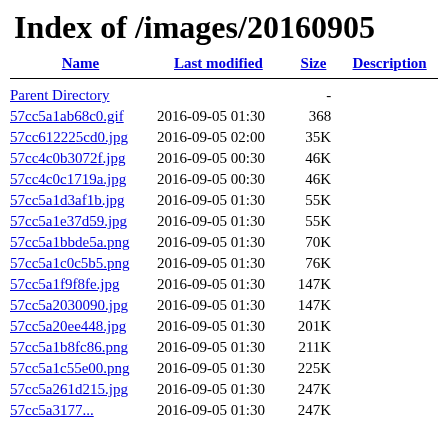Index of /images/20160905
| Name | Last modified | Size | Description |
| --- | --- | --- | --- |
| Parent Directory |  | - |  |
| 57cc5a1ab68c0.gif | 2016-09-05 01:30 | 368 |  |
| 57cc612225cd0.jpg | 2016-09-05 02:00 | 35K |  |
| 57cc4c0b3072f.jpg | 2016-09-05 00:30 | 46K |  |
| 57cc4c0c1719a.jpg | 2016-09-05 00:30 | 46K |  |
| 57cc5a1d3af1b.jpg | 2016-09-05 01:30 | 55K |  |
| 57cc5a1e37d59.jpg | 2016-09-05 01:30 | 55K |  |
| 57cc5a1bbde5a.png | 2016-09-05 01:30 | 70K |  |
| 57cc5a1c0c5b5.png | 2016-09-05 01:30 | 76K |  |
| 57cc5a1f9f8fe.jpg | 2016-09-05 01:30 | 147K |  |
| 57cc5a2030090.jpg | 2016-09-05 01:30 | 147K |  |
| 57cc5a20ee448.jpg | 2016-09-05 01:30 | 201K |  |
| 57cc5a1b8fc86.png | 2016-09-05 01:30 | 211K |  |
| 57cc5a1c55e00.png | 2016-09-05 01:30 | 225K |  |
| 57cc5a261d215.jpg | 2016-09-05 01:30 | 247K |  |
| 57cc5a3177... | 2016-09-05 01:30 | 247K |  |